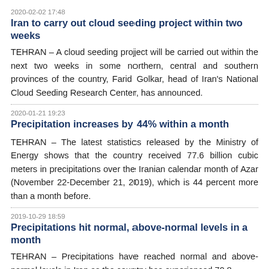2020-02-02 17:48
Iran to carry out cloud seeding project within two weeks
TEHRAN – A cloud seeding project will be carried out within the next two weeks in some northern, central and southern provinces of the country, Farid Golkar, head of Iran's National Cloud Seeding Research Center, has announced.
2020-01-21 19:23
Precipitation increases by 44% within a month
TEHRAN – The latest statistics released by the Ministry of Energy shows that the country received 77.6 billion cubic meters in precipitations over the Iranian calendar month of Azar (November 22-December 21, 2019), which is 44 percent more than a month before.
2019-10-29 18:59
Precipitations hit normal, above-normal levels in a month
TEHRAN – Precipitations have reached normal and above-normal levels in Iran as the country has experienced 70.8